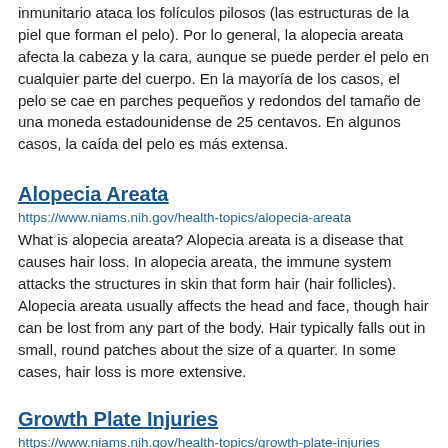inmunitario ataca los folículos pilosos (las estructuras de la piel que forman el pelo). Por lo general, la alopecia areata afecta la cabeza y la cara, aunque se puede perder el pelo en cualquier parte del cuerpo. En la mayoría de los casos, el pelo se cae en parches pequeños y redondos del tamaño de una moneda estadounidense de 25 centavos. En algunos casos, la caída del pelo es más extensa.
Alopecia Areata
https://www.niams.nih.gov/health-topics/alopecia-areata
What is alopecia areata? Alopecia areata is a disease that causes hair loss. In alopecia areata, the immune system attacks the structures in skin that form hair (hair follicles). Alopecia areata usually affects the head and face, though hair can be lost from any part of the body. Hair typically falls out in small, round patches about the size of a quarter. In some cases, hair loss is more extensive.
Growth Plate Injuries
https://www.niams.nih.gov/health-topics/growth-plate-injuries
What are growth plate injuries? The growth plate is the area of tissue near the ends of long bones in children and teens that determines what length and shape the bone will be once it is done growing. Each long bone— the thigh bone, the bones in the